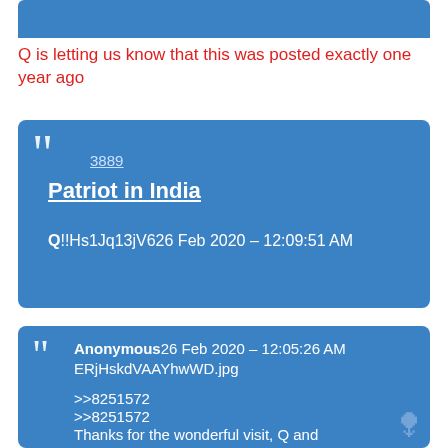[Figure (screenshot): Top partial blue rounded box (cropped from above)]
Q is letting us know that this was posted exactly one year ago
[Figure (screenshot): Blue rounded box with large quote mark, number 3889 (underlined), title 'Patriot in India' (underlined, bold), and metadata: Q!!Hs1Jq13jV626 Feb 2020 – 12:09:51 AM]
[Figure (screenshot): Blue rounded box with large quote mark, text: Anonymous 26 Feb 2020 – 12:05:26 AM, ERjHskdVAAYhwWD.jpg, >>8251572, >>8251572, Thanks for the wonderful visit, Q and (cut off)]